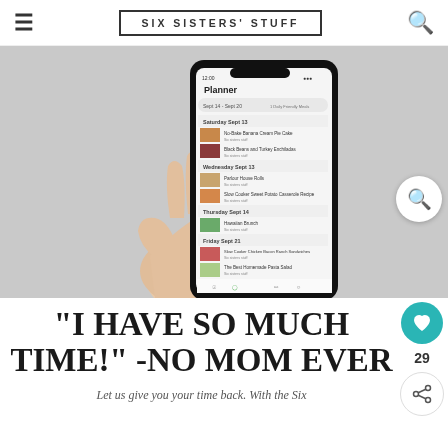SIX SISTERS' STUFF
[Figure (screenshot): Hand holding a smartphone showing a meal planning app called 'Planner' with weekly meal entries including recipes like No-Bake Banana Cream Pie Cake, Black Beans and Turkey Enchiladas, Parlor House Rolls, Slow Cooker Sweet Potato Casserole Recipe, Hawaiian Brunch, Slow Cooker Chicken Bacon Ranch Sandwiches, and The Best Homemade Pasta Salad. Background is light gray.]
“I HAVE SO MUCH TIME!” -NO MOM EVER
Let us give you your time back. With the Six